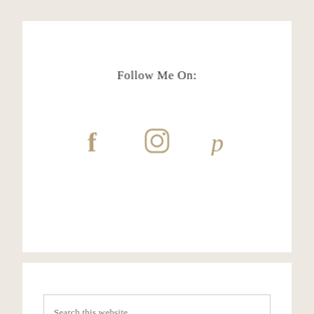Follow Me On:
[Figure (infographic): Three social media icons in tan/gold color: Facebook (f), Instagram (camera square outline), Pinterest (p)]
Search this website